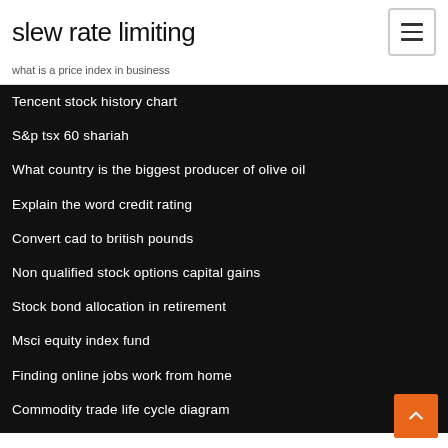slew rate limiting
what is a price index in business
Tencent stock history chart
S&p tsx 60 shariah
What country is the biggest producer of olive oil
Explain the word credit rating
Convert cad to british pounds
Non qualified stock options capital gains
Stock bond allocation in retirement
Msci equity index fund
Finding online jobs work from home
Commodity trade life cycle diagram